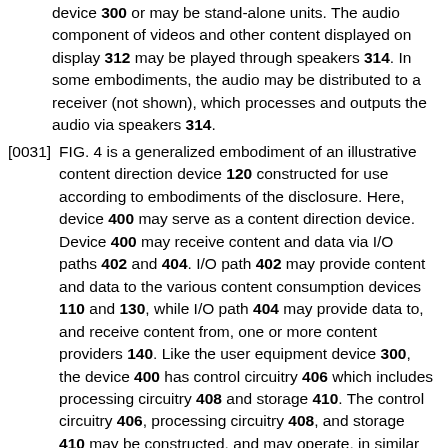device 300 or may be stand-alone units. The audio component of videos and other content displayed on display 312 may be played through speakers 314. In some embodiments, the audio may be distributed to a receiver (not shown), which processes and outputs the audio via speakers 314.
[0031] FIG. 4 is a generalized embodiment of an illustrative content direction device 120 constructed for use according to embodiments of the disclosure. Here, device 400 may serve as a content direction device. Device 400 may receive content and data via I/O paths 402 and 404. I/O path 402 may provide content and data to the various content consumption devices 110 and 130, while I/O path 404 may provide data to, and receive content from, one or more content providers 140. Like the user equipment device 300, the device 400 has control circuitry 406 which includes processing circuitry 408 and storage 410. The control circuitry 406, processing circuitry 408, and storage 410 may be constructed, and may operate, in similar manner